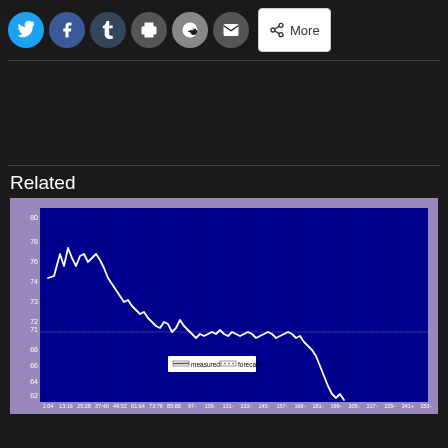[Figure (other): Social sharing buttons row: Twitter (blue circle), Facebook (blue circle), Tumblr (dark blue circle), Print (gray circle), Reddit (gray circle), Email (gray circle), and a More button]
[Figure (continuous-plot): Line chart on dark blue background showing a white line trending from around 76 down to about 62 over x-axis range 1:04 to 251+, with a legend showing 'measured' and 'forecast', y-axis roughly 62-80]